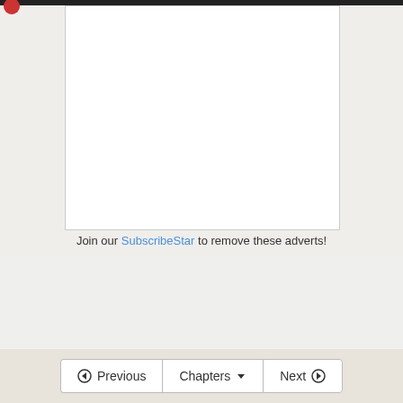[Figure (other): Advertisement placeholder white box with border]
Join our SubscribeStar to remove these adverts!
3,850 views
[Figure (infographic): Rating bar showing 261 thumbs up and 33 thumbs down with green and red bar]
[Figure (other): Navigation buttons: Previous, Chapters, Next]